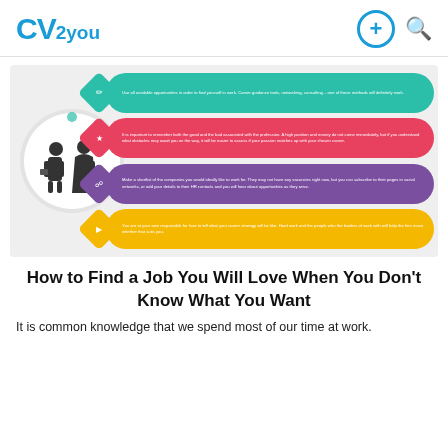CV2you
[Figure (infographic): Career advice infographic with a central circular icon showing two business professional silhouettes, connected to four colored horizontal pill-shaped bars (teal, red, purple, gold) each with a rotated diamond icon and small white text tips about finding a job.]
How to Find a Job You Will Love When You Don't Know What You Want
It is common knowledge that we spend most of our time at work.